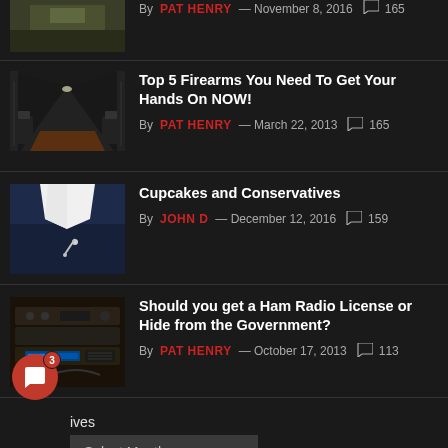[Figure (photo): Partial top article thumbnail showing outdoor path]
By PAT HENRY — November 8, 2016  165
[Figure (photo): Gun range or firearms storage room with rows of firearms]
Top 5 Firearms You Need To Get Your Hands On NOW!
By PAT HENRY — March 22, 2013  165
[Figure (photo): Dark blue fabric with a safety pin]
Cupcakes and Conservatives
By JOHN D — December 12, 2016  159
[Figure (photo): Ham radio equipment and communications gear]
Should you get a Ham Radio License or Hide from the Government?
By PAT HENRY — October 17, 2013  113
Archives
Select Month